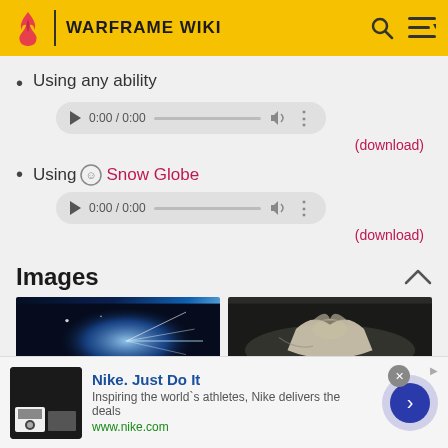WARFRAME WIKI
Using any ability
[Figure (other): Audio player: 0:00 / 0:00]
(download)
Using Snow Globe
[Figure (other): Audio player: 0:00 / 0:00]
(download)
Images
[Figure (photo): Two game screenshots side by side]
[Figure (infographic): Nike advertisement banner]